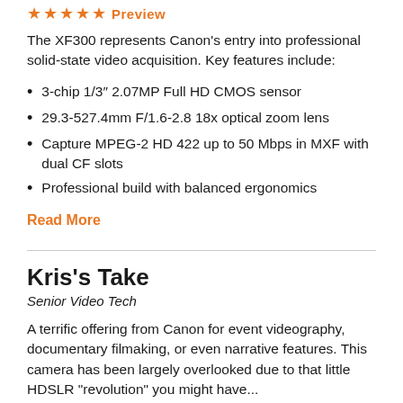★★★★★ Preview
The XF300 represents Canon's entry into professional solid-state video acquisition. Key features include:
3-chip 1/3" 2.07MP Full HD CMOS sensor
29.3-527.4mm F/1.6-2.8 18x optical zoom lens
Capture MPEG-2 HD 422 up to 50 Mbps in MXF with dual CF slots
Professional build with balanced ergonomics
Read More
Kris's Take
Senior Video Tech
A terrific offering from Canon for event videography, documentary filmaking, or even narrative features. This camera has been largely overlooked due to that little HDSLR “revolution” you might have...
Read More